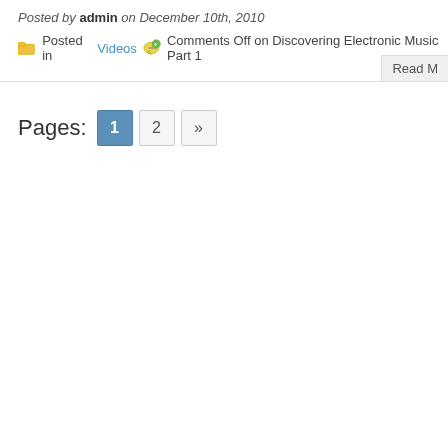Posted by admin on December 10th, 2010
Posted in Videos   Comments Off on Discovering Electronic Music Part 1
Read M
Pages: 1 2 »